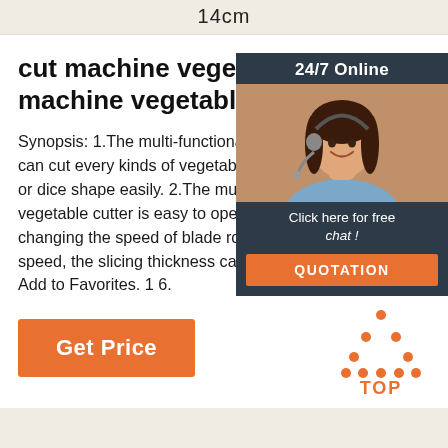14cm
cut machine vegetable, cut machine vegetable Suppliers
Synopsis: 1.The multi-functional vege... can cut every kinds of vegetable into f... or dice shape easily. 2.The multi-funct... vegetable cutter is easy to operate an... changing the speed of blade rotation a... speed, the slicing thickness can be ad... Add to Favorites. 1 6.
[Figure (photo): 24/7 Online chat widget with a customer service representative photo, 'Click here for free chat!' text, and an orange QUOTATION button]
[Figure (other): Orange 'Get Price' button]
[Figure (other): Orange dotted triangle TOP icon]